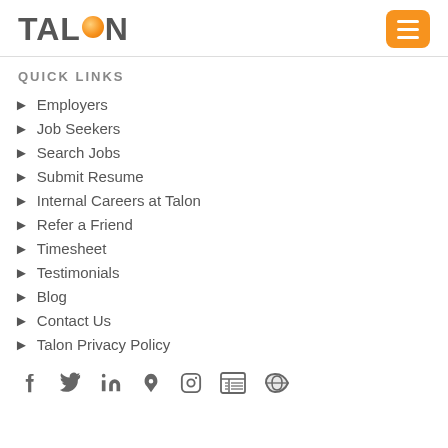[Figure (logo): Talon logo with orange ball replacing the 'O']
QUICK LINKS
Employers
Job Seekers
Search Jobs
Submit Resume
Internal Careers at Talon
Refer a Friend
Timesheet
Testimonials
Blog
Contact Us
Talon Privacy Policy
[Figure (infographic): Social media icons: Facebook, Twitter, LinkedIn, Pinterest, Instagram, News, RSS feed]